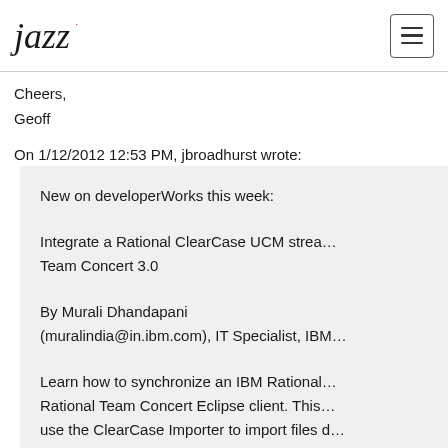Jazz [logo] | [menu button]
Cheers,
Geoff
On 1/12/2012 12:53 PM, jbroadhurst wrote:
New on developerWorks this week:

Integrate a Rational ClearCase UCM stream... Team Concert 3.0

By Murali Dhandapani (muralindia@in.ibm.com), IT Specialist, IBM...

Learn how to synchronize an IBM Rational... Rational Team Concert Eclipse client. This... use the ClearCase Importer to import files d...